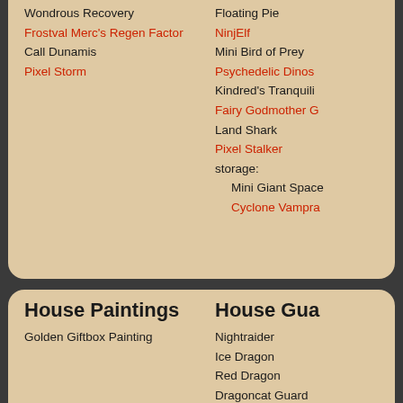Wondrous Recovery
Frostval Merc's Regen Factor
Call Dunamis
Pixel Storm
Floating Pie
NinjElf
Mini Bird of Prey
Psychedelic Dinos
Kindred's Tranquili
Fairy Godmother G
Land Shark
Pixel Stalker
storage:
Mini Giant Space
Cyclone Vampra
House Paintings
Golden Giftbox Painting
House Gua
Nightraider
Ice Dragon
Red Dragon
Dragoncat Guard